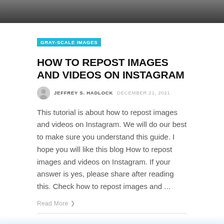[Figure (photo): Dark grayscale photo of a smartphone on a wooden surface, top portion of blog post image]
GRAY-SCALE IMAGES
HOW TO REPOST IMAGES AND VIDEOS ON INSTAGRAM
JEFFREY S. HADLOCK   DECEMBER 21, 2021
This tutorial is about how to repost images and videos on Instagram. We will do our best to make sure you understand this guide. I hope you will like this blog How to repost images and videos on Instagram. If your answer is yes, please share after reading this. Check how to repost images and ...
Read More ❯
[Figure (photo): Light blue sky and clouds photo, bottom of page partial view]